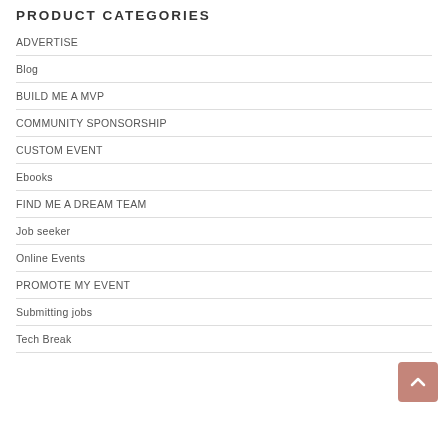PRODUCT CATEGORIES
ADVERTISE
Blog
BUILD ME A MVP
COMMUNITY SPONSORSHIP
CUSTOM EVENT
Ebooks
FIND ME A DREAM TEAM
Job seeker
Online Events
PROMOTE MY EVENT
Submitting jobs
Tech Break